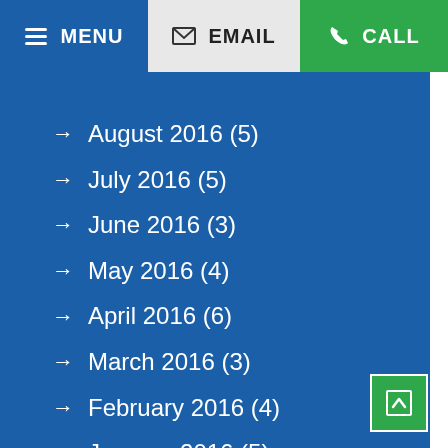MENU | EMAIL | CALL
→ August 2016 (5)
→ July 2016 (5)
→ June 2016 (3)
→ May 2016 (4)
→ April 2016 (6)
→ March 2016 (3)
→ February 2016 (4)
→ January 2016 (5)
→ December 2015 (4)
→ November 2015 (5)